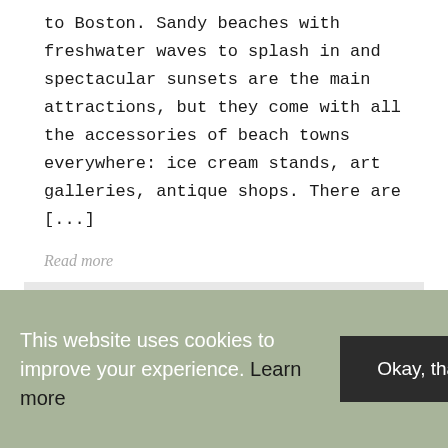to Boston. Sandy beaches with freshwater waves to splash in and spectacular sunsets are the main attractions, but they come with all the accessories of beach towns everywhere: ice cream stands, art galleries, antique shops. There are [...]
Read more
LOAD MORE
This website uses cookies to improve your experience. Learn more
Okay, thanks